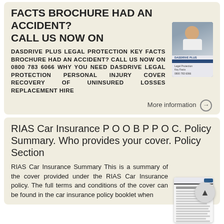FACTS BROCHURE HAD AN ACCIDENT? CALL US NOW ON
DASDRIVE PLUS LEGAL PROTECTION KEY FACTS BROCHURE HAD AN ACCIDENT? CALL US NOW ON 0800 783 6066 WHY YOU NEED DASDRIVE LEGAL PROTECTION PERSONAL INJURY COVER RECOVERY OF UNINSURED LOSSES REPLACEMENT HIRE
[Figure (photo): Photo of a young man sitting in a car, smiling at the camera. Below the photo is a DasDrive Plus brochure cover image with blue header bar.]
More information ⊙
RIAS Car Insurance P O O B P P O C. Policy Summary. Who provides your cover. Policy Section
RIAS Car Insurance Summary This is a summary of the cover provided under the RIAS Car Insurance policy. The full terms and conditions of the cover can be found in the car insurance policy booklet when
[Figure (screenshot): Image of a RIAS Car Insurance policy summary document showing a table with rows and columns.]